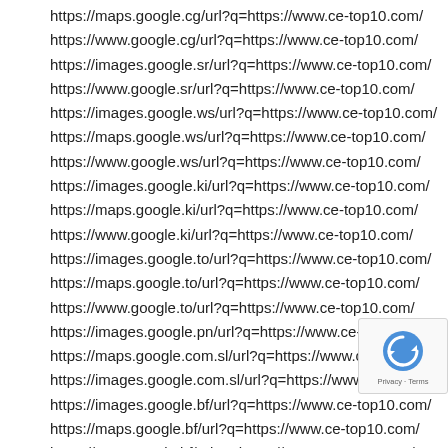https://maps.google.cg/url?q=https://www.ce-top10.com/
https://www.google.cg/url?q=https://www.ce-top10.com/
https://images.google.sr/url?q=https://www.ce-top10.com/
https://www.google.sr/url?q=https://www.ce-top10.com/
https://images.google.ws/url?q=https://www.ce-top10.com/
https://maps.google.ws/url?q=https://www.ce-top10.com/
https://www.google.ws/url?q=https://www.ce-top10.com/
https://images.google.ki/url?q=https://www.ce-top10.com/
https://maps.google.ki/url?q=https://www.ce-top10.com/
https://www.google.ki/url?q=https://www.ce-top10.com/
https://images.google.to/url?q=https://www.ce-top10.com/
https://maps.google.to/url?q=https://www.ce-top10.com/
https://www.google.to/url?q=https://www.ce-top10.com/
https://images.google.pn/url?q=https://www.ce-top10.com/
https://maps.google.com.sl/url?q=https://www.ce-top10.com/
https://images.google.com.sl/url?q=https://www.ce-top10.com/
https://images.google.bf/url?q=https://www.ce-top10.com/
https://maps.google.bf/url?q=https://www.ce-top10.com/
https://www.google.bf/url?q=https://www.ce-top10.com/
https://images.google.cv/url?q=https://www.ce-top10.com/
https://maps.google.cv/url?q=https://www.ce-top10.com/
https://www.google.cv/url?q=https://www.ce-top10.com/